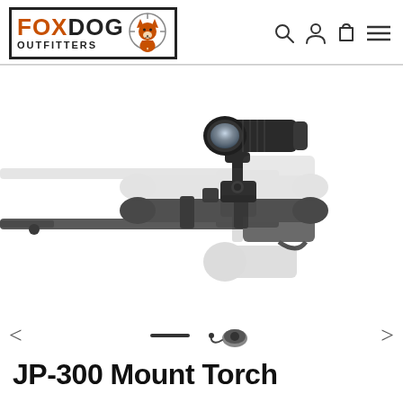[Figure (logo): Foxdog Outfitters logo with fox icon inside a rectangular border]
[Figure (photo): A rifle with a tactical flashlight/torch mounted on a scope on top of the barrel, shown against a white background with a faded ghost image reflection below]
JP-300 Mount Torch